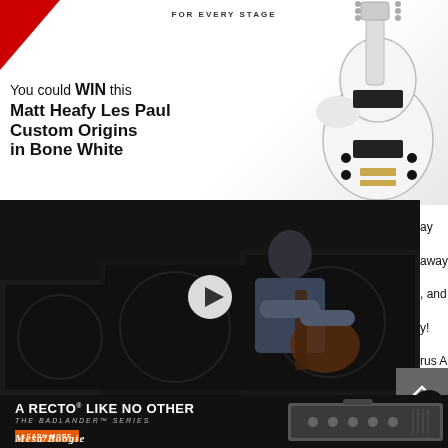[Figure (photo): Guitar promotional banner showing white Les Paul Custom guitar with text 'FOR EVERY STAGE' and 'You could WIN this Matt Heafy Les Paul Custom Origins in Bone White']
[Figure (photo): Video thumbnail showing person playing guitar in a room with amplifiers, with a white play button overlay]
...ay ...away from Wren & ...o, and Pigtronix! ...y! ...rus Audio
[Figure (photo): Mesa/Boogie advertisement showing amp head with text 'A RECTO LIKE NO OTHER THE BADLANDER SERIES', LEARN MORE button, and Mesa/Boogie logo]